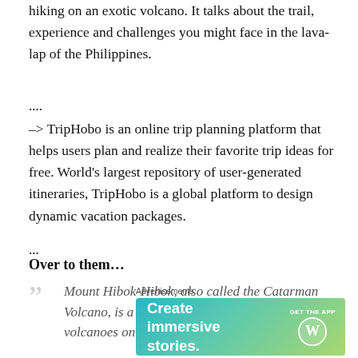hiking on an exotic volcano. It talks about the trail, experience and challenges you might face in the lava-lap of the Philippines.
....
–> TripHobo is an online trip planning platform that helps users plan and realize their favorite trip ideas for free. World's largest repository of user-generated itineraries, TripHobo is a global platform to design dynamic vacation packages.
...
Over to them...
Mount Hibok-Hibok, also called the Catarman Volcano, is a stratovolcano and one of the active volcanoes on Camiguin Island in the Philippines.
Advertisements
[Figure (screenshot): Advertisement banner for WordPress app: 'Create immersive stories. GET THE APP' with WordPress logo on a teal-to-green gradient background.]